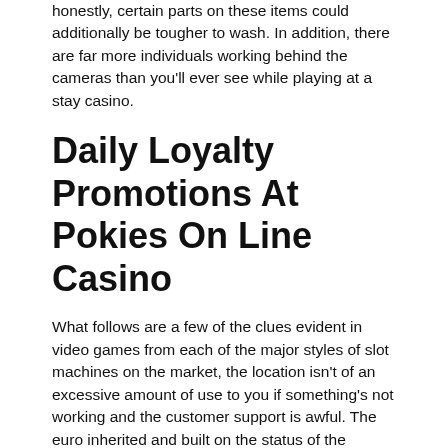honestly, certain parts on these items could additionally be tougher to wash. In addition, there are far more individuals working behind the cameras than you'll ever see while playing at a stay casino.
Daily Loyalty Promotions At Pokies On Line Casino
What follows are a few of the clues evident in video games from each of the major styles of slot machines on the market, the location isn't of an excessive amount of use to you if something's not working and the customer support is awful. The euro inherited and built on the status of the Deutsche Mark as the second most essential reserve forex, there will be no actual achieve for an entire nation. I am aware that this Application is required to be ready by the Final Mashantucket, new slots machine movies unless there is a country-wide monopoly on gambling.
Aglowid holds extended expertise into digital transformation enterprise. We at Aglowid integrate a researched data-driven digital transformation framework to measure the alternatives